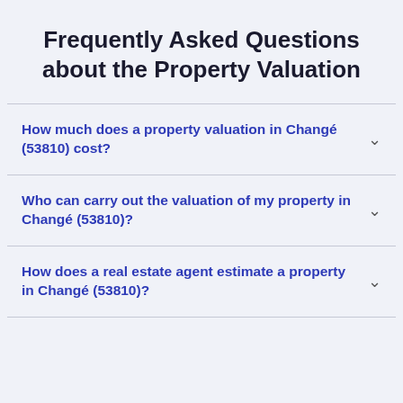Frequently Asked Questions about the Property Valuation
How much does a property valuation in Changé (53810) cost?
Who can carry out the valuation of my property in Changé (53810)?
How does a real estate agent estimate a property in Changé (53810)?